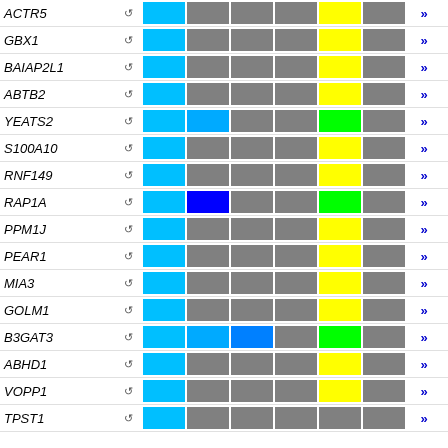[Figure (table-as-image): Gene expression heatmap table with gene names in italic on the left, a refresh icon column, colored cells (cyan, blue, gray, yellow, green) across multiple columns, and double-arrow navigation icons on the right. Genes listed: ACTR5, GBX1, BAIAP2L1, ABTB2, YEATS2, S100A10, RNF149, RAP1A, PPM1J, PEAR1, MIA3, GOLM1, B3GAT3, ABHD1, VOPP1, TPST1]